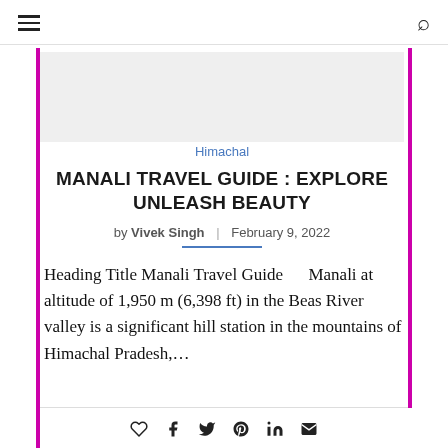≡   🔍
[Figure (other): Light gray placeholder/advertisement box]
Himachal
MANALI TRAVEL GUIDE : EXPLORE UNLEASH BEAUTY
by Vivek Singh | February 9, 2022
Heading Title Manali Travel Guide      Manali at altitude of 1,950 m (6,398 ft) in the Beas River valley is a significant hill station in the mountains of Himachal Pradesh,…